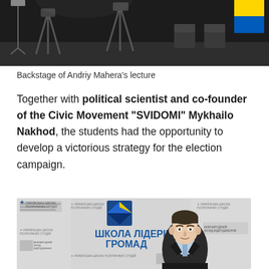[Figure (photo): Backstage photo of a lecture setup with studio lighting equipment, camera stands and chairs visible in a room with Ukrainian flags in background]
Backstage of Andriy Mahera's lecture
Together with political scientist and co-founder of the Civic Movement "SVIDOMI" Mykhailo Nakhod, the students had the opportunity to develop a victorious strategy for the election campaign.
[Figure (photo): A man in a dark suit standing in front of a branded backdrop reading 'ШКОЛА ЛІДЕРІВ ГРОМАД' (School of Community Leaders) with logos of Українська школа політичних студій (Ukrainian School of Political Studies) and other organizations]